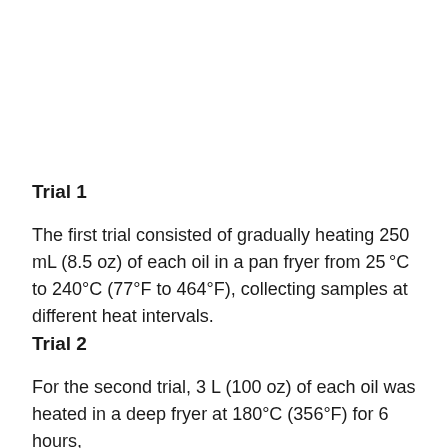Trial 1
The first trial consisted of gradually heating 250 mL (8.5 oz) of each oil in a pan fryer from 25°C to 240°C (77°F to 464°F), collecting samples at different heat intervals.
Trial 2
For the second trial, 3 L (100 oz) of each oil was heated in a deep fryer at 180°C (356°F) for 6 hours,